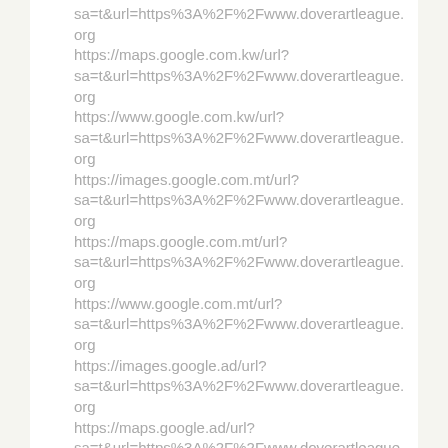sa=t&url=https%3A%2F%2Fwww.doverartleague.org
https://maps.google.com.kw/url?
sa=t&url=https%3A%2F%2Fwww.doverartleague.org
https://www.google.com.kw/url?
sa=t&url=https%3A%2F%2Fwww.doverartleague.org
https://images.google.com.mt/url?
sa=t&url=https%3A%2F%2Fwww.doverartleague.org
https://maps.google.com.mt/url?
sa=t&url=https%3A%2F%2Fwww.doverartleague.org
https://www.google.com.mt/url?
sa=t&url=https%3A%2F%2Fwww.doverartleague.org
https://images.google.ad/url?
sa=t&url=https%3A%2F%2Fwww.doverartleague.org
https://maps.google.ad/url?
sa=t&url=https%3A%2F%2Fwww.doverartleague.org
https://www.google.ad/url?
sa=t&url=https%3A%2F%2Fwww.doverartleague.org
https://images.google.as/url?
sa=t&url=https%3A%2F%2Fwww.doverartleague.org
https://maps.google.as/url?
sa=t&url=https%3A%2F%2Fwww.doverartleague.org
https://www.google.as/url?
sa=t&url=https%3A%2F%2Fwww.doverartleague.org
https://anonym.to/?https%3A%2F%2Fwww.doverartleague.org
https://images.google.com.jm/url?